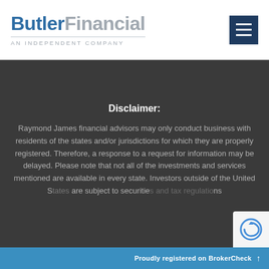[Figure (logo): Butler Financial logo with 'ButlerFinancial' text and 'AN INDEPENDENT COMPANY' tagline]
[Figure (other): Hamburger menu button (three horizontal lines) on dark navy background]
Disclaimer:
Raymond James financial advisors may only conduct business with residents of the states and/or jurisdictions for which they are properly registered. Therefore, a response to a request for information may be delayed. Please note that not all of the investments and services mentioned are available in every state. Investors outside of the United States are subject to securities and tax regulations of their applicable jurisdictions.
Proudly registered on BrokerCheck ↑